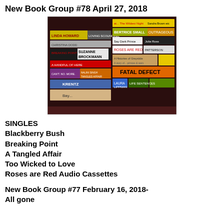New Book Group #78 April 27, 2018
[Figure (photo): A photograph of a collection of paperback books stacked and arranged on a dark red/maroon surface, showing various book spines and covers including titles by authors such as Linda Howard, Suzanne Brockmann, Krentz, Bertrice Small, Julia Ross, Patterson, and others.]
SINGLES
Blackberry Bush
Breaking Point
A Tangled Affair
Too Wicked to Love
Roses are Red Audio Cassettes
New Book Group #77 February 16, 2018- All gone